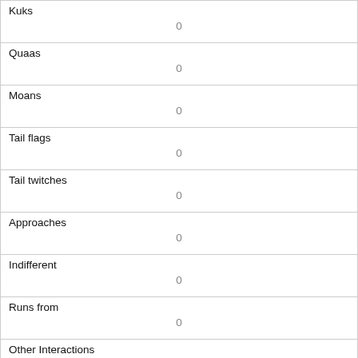| Kuks | 0 |
| Quaas | 0 |
| Moans | 0 |
| Tail flags | 0 |
| Tail twitches | 0 |
| Approaches | 0 |
| Indifferent | 0 |
| Runs from | 0 |
| Other Interactions |  |
| Lat/Long | POINT (-73.9791648157033 40.767625444347) |